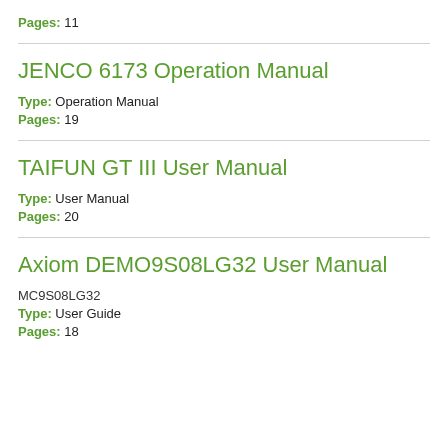Pages: 11
JENCO 6173 Operation Manual
Type: Operation Manual
Pages: 19
TAIFUN GT III User Manual
Type: User Manual
Pages: 20
Axiom DEMO9S08LG32 User Manual
MC9S08LG32
Type: User Guide
Pages: 18